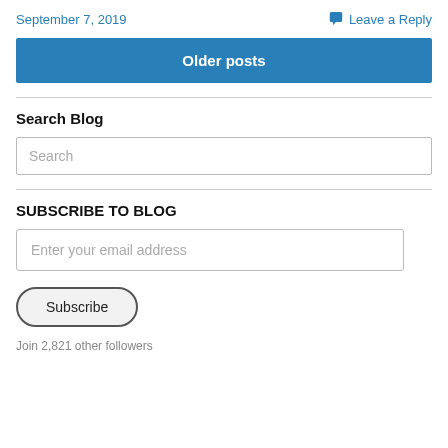September 7, 2019
Leave a Reply
Older posts
Search Blog
Search
SUBSCRIBE TO BLOG
Enter your email address
Subscribe
Join 2,821 other followers